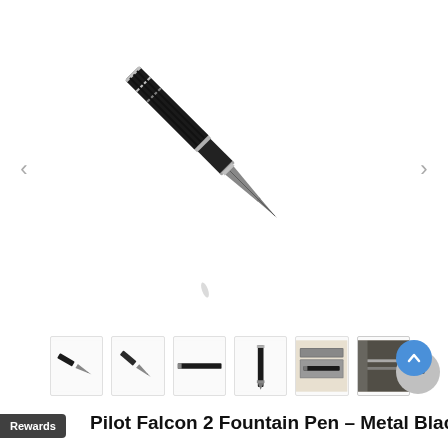[Figure (photo): Close-up of a Pilot Falcon 2 black metal fountain pen nib pointing downward against a white background]
[Figure (photo): Row of five thumbnail images showing the Pilot Falcon 2 fountain pen from different angles and in its case]
Pilot Falcon 2 Fountain Pen - Metal Black